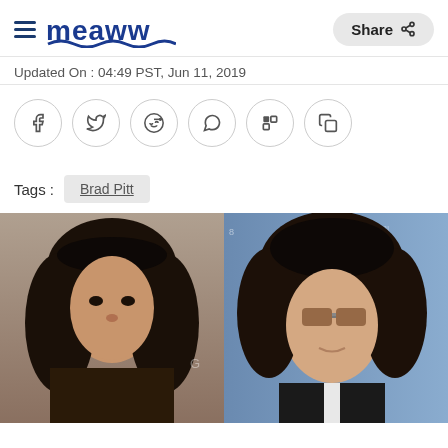Meaww | Share
Updated On : 04:49 PST, Jun 11, 2019
[Figure (other): Social sharing icons: Facebook, Twitter, Reddit, WhatsApp, Flipboard, Copy]
Tags : Brad Pitt
[Figure (photo): Two celebrity photos side by side: a woman with curly black hair and floral headpiece on the left, a man with curly dark hair wearing sunglasses on the right]